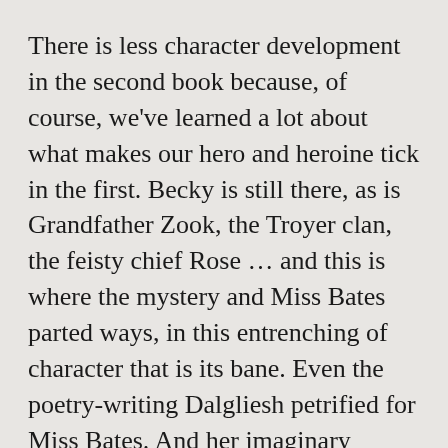There is less character development in the second book because, of course, we've learned a lot about what makes our hero and heroine tick in the first. Becky is still there, as is Grandfather Zook, the Troyer clan, the feisty chief Rose … and this is where the mystery and Miss Bates parted ways, in this entrenching of character that is its bane. Even the poetry-writing Dalgliesh petrified for Miss Bates. And her imaginary television boyfriend, Christopher Foyle, lost her after season three.